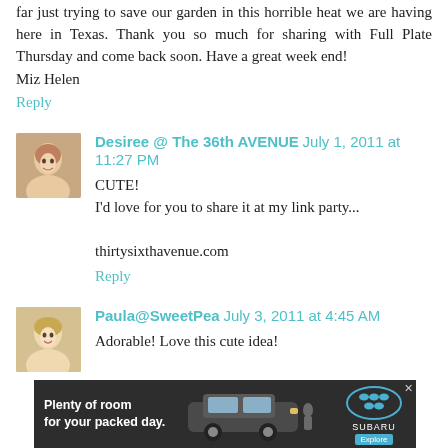far just trying to save our garden in this horrible heat we are having here in Texas. Thank you so much for sharing with Full Plate Thursday and come back soon. Have a great week end!
Miz Helen
Reply
Desiree @ The 36th AVENUE  July 1, 2011 at 11:27 PM
CUTE!
I'd love for you to share it at my link party...

thirtysixthavenue.com
Reply
Paula@SweetPea  July 3, 2011 at 4:45 AM
Adorable! Love this cute idea!
[Figure (photo): Subaru advertisement banner: 'Plenty of room for your packed day.' with image of Subaru SUV and Subaru logo with Explore button]